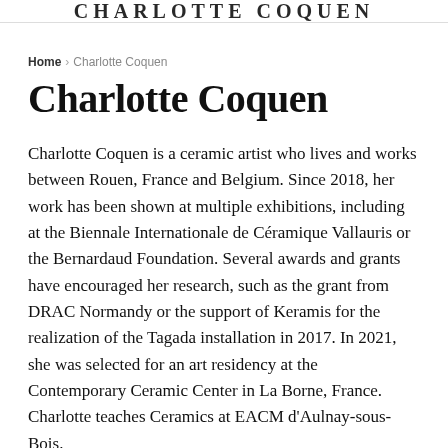CHARLOTTE COQUEN
Home › Charlotte Coquen
Charlotte Coquen
Charlotte Coquen is a ceramic artist who lives and works between Rouen, France and Belgium. Since 2018, her work has been shown at multiple exhibitions, including at the Biennale Internationale de Céramique Vallauris or the Bernardaud Foundation. Several awards and grants have encouraged her research, such as the grant from DRAC Normandy or the support of Keramis for the realization of the Tagada installation in 2017. In 2021, she was selected for an art residency at the Contemporary Ceramic Center in La Borne, France. Charlotte teaches Ceramics at EACM d'Aulnay-sous-Bois.